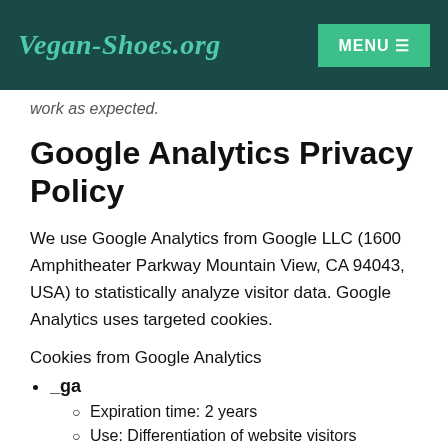Vegan-Shoes.org | MENU
work as expected.
Google Analytics Privacy Policy
We use Google Analytics from Google LLC (1600 Amphitheater Parkway Mountain View, CA 94043, USA) to statistically analyze visitor data. Google Analytics uses targeted cookies.
Cookies from Google Analytics
_ga
Expiration time: 2 years
Use: Differentiation of website visitors
Exemplary value: GA1.2.1326744211.152221077604